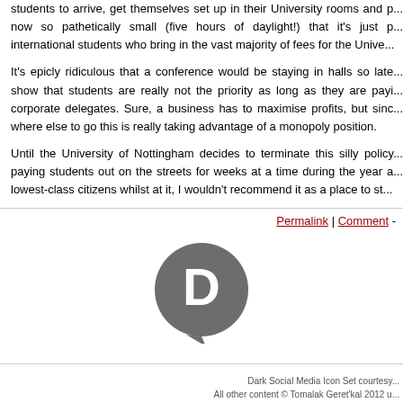students to arrive, get themselves set up in their University rooms and p... now so pathetically small (five hours of daylight!) that it's just p... international students who bring in the vast majority of fees for the Unive...
It's epicly ridiculous that a conference would be staying in halls so late... show that students are really not the priority as long as they are payi... corporate delegates. Sure, a business has to maximise profits, but sinc... where else to go this is really taking advantage of a monopoly position.
Until the University of Nottingham decides to terminate this silly policy... paying students out on the streets for weeks at a time during the year a... lowest-class citizens whilst at it, I wouldn't recommend it as a place to st...
Permalink | Comment -
[Figure (logo): Disqus dark circular logo icon with letter D in white]
Dark Social Media Icon Set courtesy... All other content © Tomalak Geret'kal 2012 u...